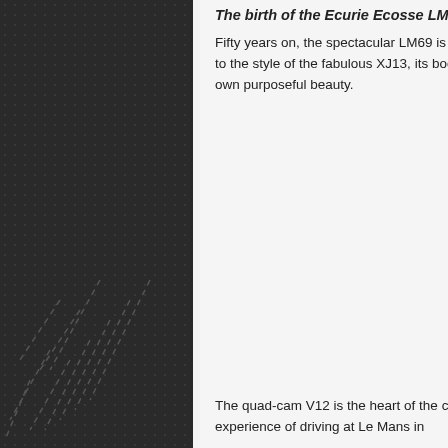The birth of the Ecurie Ecosse LM69
Fifty years on, the spectacular LM69 is to be launched. While remaining true in spirit and sympathetic to the style of the fabulous XJ13, its bodywork has been developed into an all-new design that has its own purposeful beauty.
The quad-cam V12 is the heart of the car, a unique signature that has been designed to evoke the experience of driving at Le Mans in